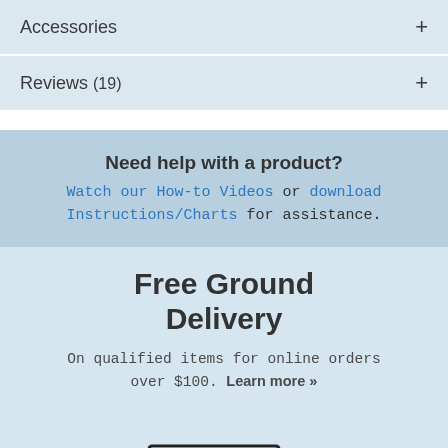Accessories +
Reviews (19) +
Need help with a product?
Watch our How-to Videos or download Instructions/Charts for assistance.
Free Ground Delivery
On qualified items for online orders over $100. Learn more »
[Figure (illustration): A delivery truck with FREE written on its side, drawn in a simple black and white line art style, moving to the right with speed lines.]